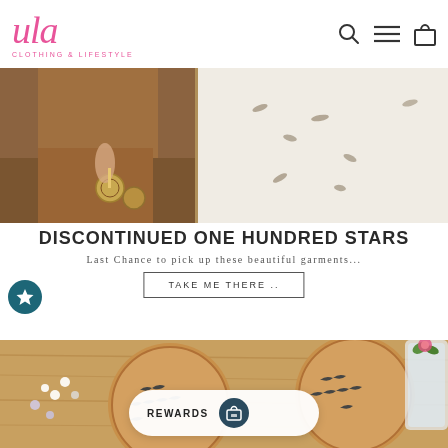ula CLOTHING & LIFESTYLE
[Figure (photo): Lifestyle photo showing a person in a white garment with bird print pattern, holding a decorative bag, beside wooden furniture]
DISCONTINUED ONE HUNDRED STARS
Last Chance to pick up these beautiful garments...
TAKE ME THERE ..
[Figure (photo): Photo of circular cork coasters with swallow/bird print designs on a wooden surface, with flowers and a drink in background]
REWARDS